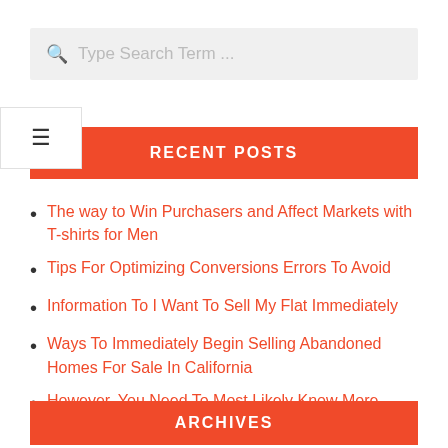Type Search Term ...
RECENT POSTS
The way to Win Purchasers and Affect Markets with T-shirts for Men
Tips For Optimizing Conversions Errors To Avoid
Information To I Want To Sell My Flat Immediately
Ways To Immediately Begin Selling Abandoned Homes For Sale In California
However, You Need To Most Likely Know More About It Than That
ARCHIVES